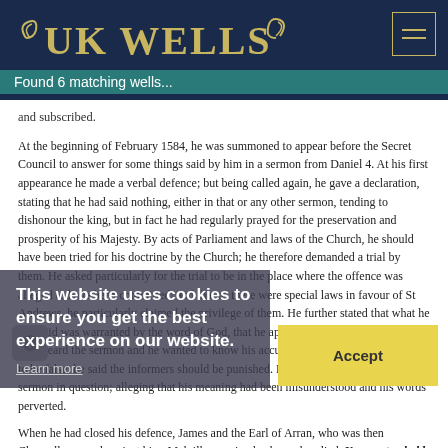UK WELLS — Found 6 matching wells...
and subscribed.
At the beginning of February 1584, he was summoned to appear before the Secret Council to answer for some things said by him in a sermon from Daniel 4. At his first appearance he made a verbal defence; but being called again, he gave a declaration, stating that he had said nothing, either in that or any other sermon, tending to dishonour the king, but in fact he had regularly prayed for the preservation and prosperity of his Majesty. By acts of Parliament and laws of the Church, he should have been tried for his doctrine by the Church; he therefore demanded a trial by them. He asked particularly for the trial to be in the place where the offence was alleged to have been committed; and that as there were special laws in favour of St Andrews, he particularly claimed the privilege of them. He further stated that what he had said was warranted by the word of God, that he appealed to the congregation who heard the sermon and he wanted to know his accusers. If the calumny was found to be false, he said the informers should be punished. He then gave an account of the sermon in question; alleging that his meaning had been misunderstood and his words perverted.
When he had closed his defence, James and the Earl of Arran, who was then Chancellor, raged against him. Melville remained calm and replied, You are too bold, in a constituted Christian kirk, to pass by the pastors and take upon you to judge the doctrine and control the messengers of a Greater than any present. That you may see your
This website uses cookies to ensure you get the best experience on our website.
Learn more
Accept